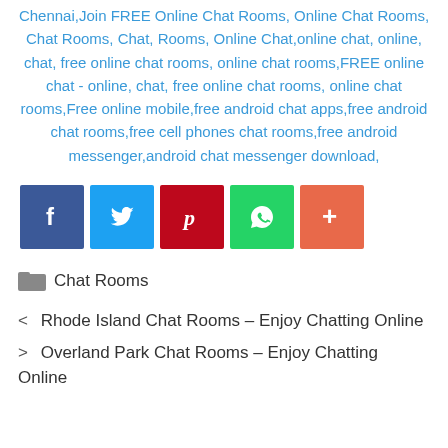Chennai,Join FREE Online Chat Rooms, Online Chat Rooms, Chat Rooms, Chat, Rooms, Online Chat,online chat, online, chat, free online chat rooms, online chat rooms,FREE online chat - online, chat, free online chat rooms, online chat rooms,Free online mobile,free android chat apps,free android chat rooms,free cell phones chat rooms,free android messenger,android chat messenger download,
[Figure (other): Social share buttons: Facebook (blue), Twitter (light blue), Pinterest (red), WhatsApp (green), More/Plus (orange-red)]
Chat Rooms
< Rhode Island Chat Rooms – Enjoy Chatting Online
> Overland Park Chat Rooms – Enjoy Chatting Online